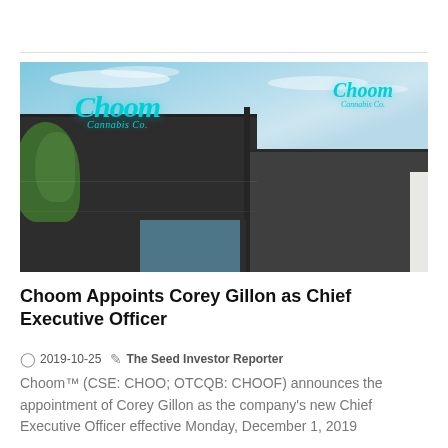[Figure (photo): Exterior photo of a Choom Cannabis Co. retail store building with dark grey facade, teal/cyan cursive 'Choom' logo signs on two visible walls, green foliage on the left, and a partly cloudy blue sky background.]
Choom Appoints Corey Gillon as Chief Executive Officer
2019-10-25  The Seed Investor Reporter
Choom™ (CSE: CHOO; OTCQB: CHOOF) announces the appointment of Corey Gillon as the company's new Chief Executive Officer effective Monday, December 1, 2019